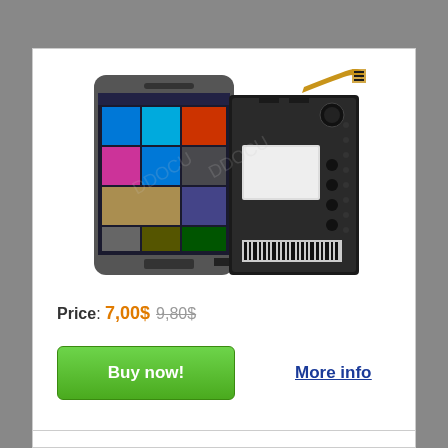[Figure (photo): Product photo showing an HTC smartphone with Windows Phone interface displayed on screen, alongside a replacement battery (black rectangular battery pack with connector ribbon)]
Price: 7,00$ 9,80$
Buy now!
More info